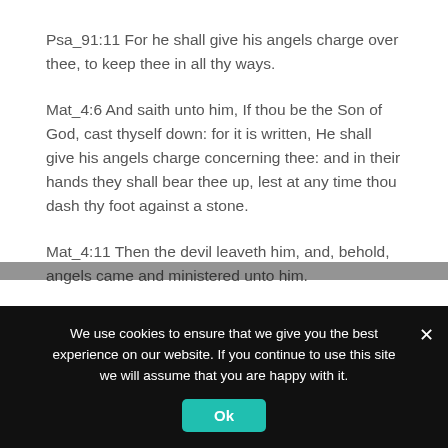Psa_91:11 For he shall give his angels charge over thee, to keep thee in all thy ways.
Mat_4:6 And saith unto him, If thou be the Son of God, cast thyself down: for it is written, He shall give his angels charge concerning thee: and in their hands they shall bear thee up, lest at any time thou dash thy foot against a stone.
Mat_4:11 Then the devil leaveth him, and, behold, angels came and ministered unto him.
Rev_1:20 The mystery of the seven stars which thou sawest in my right hand, and the seven golden candlesticks. The seven stars are
We use cookies to ensure that we give you the best experience on our website. If you continue to use this site we will assume that you are happy with it.
Ok